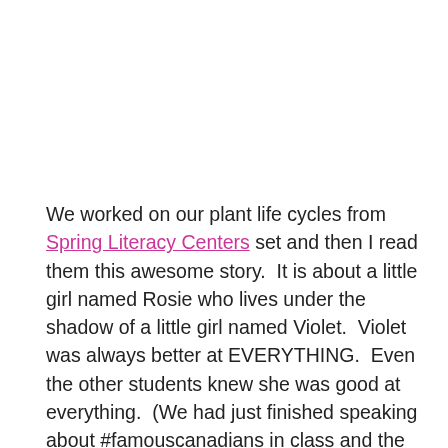We worked on our plant life cycles from Spring Literacy Centers set and then I read them this awesome story.  It is about a little girl named Rosie who lives under the shadow of a little girl named Violet.  Violet was always better at EVERYTHING.  Even the other students knew she was good at everything.  (We had just finished speaking about #famouscanadians in class and the importance of being humble so this book was a beauty.)  Rosie wasn't necessarily jealous, she was just sick of hearing about how great Violet was at everything.  Violet...